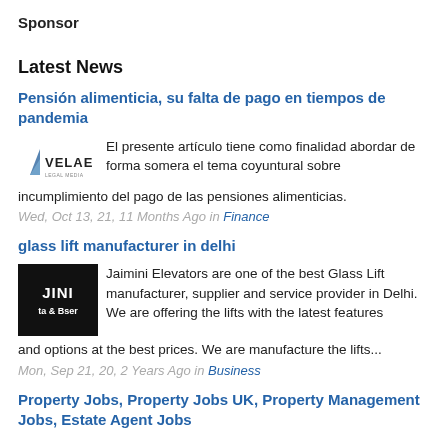Sponsor
Latest News
Pensión alimenticia, su falta de pago en tiempos de pandemia
El presente artículo tiene como finalidad abordar de forma somera el tema coyuntural sobre incumplimiento del pago de las pensiones alimenticias.
Wed, Oct 13, 21, 11 Months Ago in Finance
glass lift manufacturer in delhi
Jaimini Elevators are one of the best Glass Lift manufacturer, supplier and service provider in Delhi. We are offering the lifts with the latest features and options at the best prices. We are manufacture the lifts...
Mon, Sep 21, 20, 2 Years Ago in Business
Property Jobs, Property Jobs UK, Property Management Jobs, Estate Agent Jobs